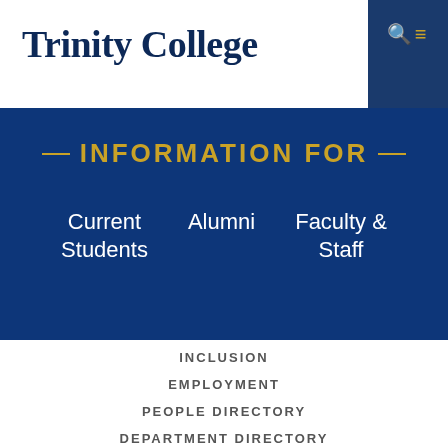Trinity College
INFORMATION FOR
Current Students
Alumni
Faculty & Staff
INCLUSION
EMPLOYMENT
PEOPLE DIRECTORY
DEPARTMENT DIRECTORY
CAMPUS MAP
©2022